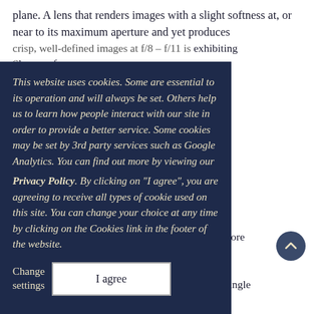plane. A lens that renders images with a slight softness at, or near to its maximum aperture and yet produces crisp, well-defined images at f/8 – f/11 is exhibiting spherical aberration. The sharp spherical aberration ... Closing the lens ... from its ... the problem. ... mention are, generally, ... due to the light ... (refracted) at ... to air ... lens designs in which light passing through the lens tends to be more collimated ... effect of both coma and spherical ... a variety of aspherical lens element types, especially in wide-angle Nikkor lenses.
This website uses cookies. Some are essential to its operation and will always be set. Others help us to learn how people interact with our site in order to provide a better service. Some cookies may be set by 3rd party services such as Google Analytics. You can find out more by viewing our Privacy Policy. By clicking on "I agree", you are agreeing to receive all types of cookie used on this site. You can change your choice at any time by clicking on the Cookies link in the footer of the website.